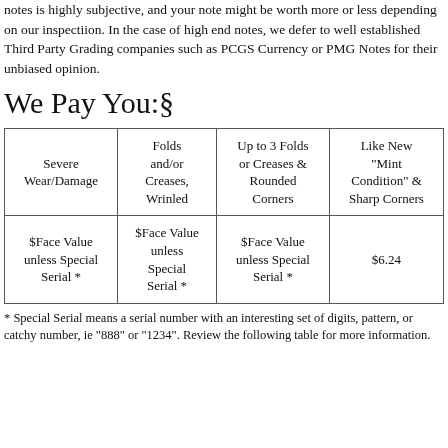notes is highly subjective, and your note might be worth more or less depending on our inspectiion. In the case of high end notes, we defer to well established Third Party Grading companies such as PCGS Currency or PMG Notes for their unbiased opinion.
We Pay You:§
| Severe Wear/Damage | Folds and/or Creases, Wrinled | Up to 3 Folds or Creases & Rounded Corners | Like New "Mint Condition" & Sharp Corners |
| --- | --- | --- | --- |
| $Face Value unless Special Serial * | $Face Value unless Special Serial * | $Face Value unless Special Serial * | $6.24 |
* Special Serial means a serial number with an interesting set of digits, pattern, or catchy number, ie "888" or "1234". Review the following table for more information.